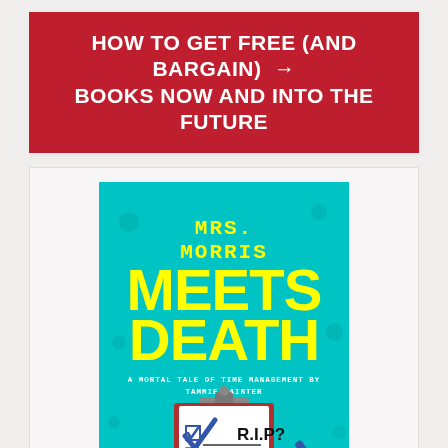HOW TO GET FREE (AND BARGAIN) BOOKS NOW AND INTO THE FUTURE →
[Figure (illustration): Book cover for 'Mrs. Morris Meets Death: A Mortal Tale of Time Management by Tammie Painter'. Teal background with yellow bold text for the title. Features a clipboard illustration with 'R.I.P?' written on it with a checkmark.]